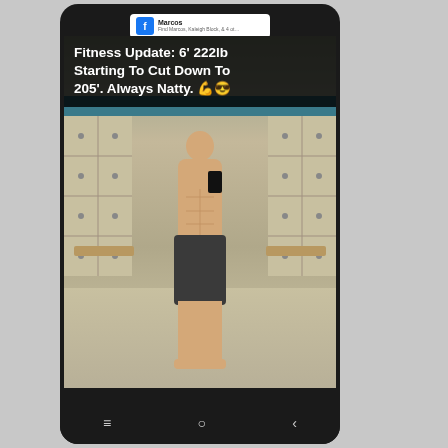[Figure (photo): Screenshot of a Facebook post showing a man taking a shirtless mirror selfie in a gym locker room. Overlaid text reads: 'Fitness Update: 6' 222lb Starting To Cut Down To 205'. Always Natty. 💪😎'. The post header shows a Facebook profile icon with name 'Marcos' and subtitle text. The bottom shows Android navigation bar with menu, home, and back buttons.]